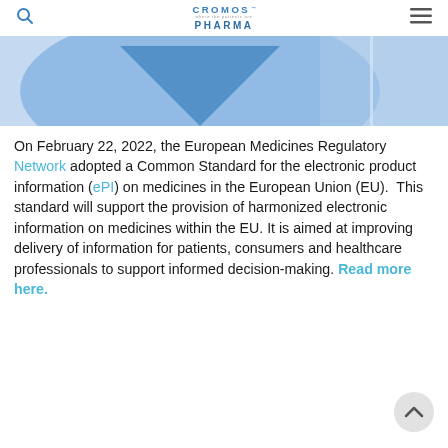CROMOS PHARMA — where the patients are
[Figure (photo): Partial view of a blue abstract image with curved shapes, likely a decorative hero banner for the Cromos Pharma website]
On February 22, 2022, the European Medicines Regulatory Network adopted a Common Standard for the electronic product information (ePI) on medicines in the European Union (EU). This standard will support the provision of harmonized electronic information on medicines within the EU. It is aimed at improving delivery of information for patients, consumers and healthcare professionals to support informed decision-making. Read more here.